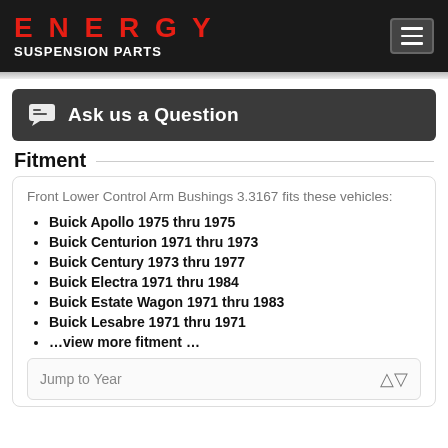ENERGY SUSPENSION PARTS
Ask us a Question
Fitment
Front Lower Control Arm Bushings 3.3167 fits these vehicles:
Buick Apollo 1975 thru 1975
Buick Centurion 1971 thru 1973
Buick Century 1973 thru 1977
Buick Electra 1971 thru 1984
Buick Estate Wagon 1971 thru 1983
Buick Lesabre 1971 thru 1971
…view more fitment …
Jump to Year